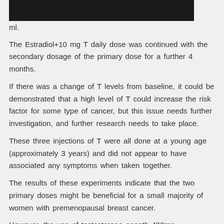[Figure (photo): Dark/black image at top of page, partially visible]
ml.
The Estradiol+10 mg T daily dose was continued with the secondary dosage of the primary dose for a further 4 months.
If there was a change of T levels from baseline, it could be demonstrated that a high level of T could increase the risk factor for some type of cancer, but this issue needs further investigation, and further research needs to take place.
These three injections of T were all done at a young age (approximately 3 years) and did not appear to have associated any symptoms when taken together.
The results of these experiments indicate that the two primary doses might be beneficial for a small majority of women with premenopausal breast cancer.
However, the use of testosterone enanth 400mg